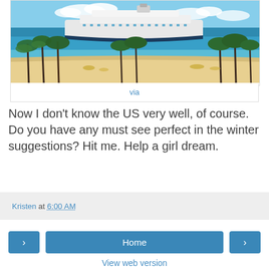[Figure (photo): Cruise ship on turquoise water with palm trees and beach in the foreground]
via
Now I don't know the US very well, of course. Do you have any must see perfect in the winter suggestions? Hit me. Help a girl dream.
Kristen at 6:00 AM
Home
View web version